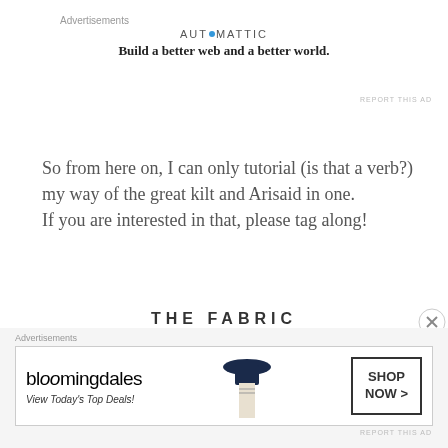Advertisements
[Figure (logo): Automattic logo with tagline: Build a better web and a better world.]
REPORT THIS AD
So from here on, I can only tutorial (is that a verb?) my way of the great kilt and Arisaid in one.
If you are interested in that, please tag along!
THE FABRIC
[Figure (photo): Photo of dark plaid tartan fabric folded on a beige surface]
Advertisements
[Figure (photo): Bloomingdales advertisement banner: bloomingdales logo, View Today's Top Deals!, woman wearing hat, SHOP NOW button]